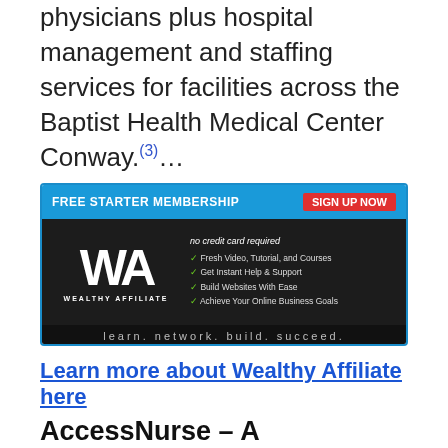physicians plus hospital management and staffing services for facilities across the Baptist Health Medical Center Conway.(3)…
[Figure (infographic): Wealthy Affiliate advertisement banner: 'FREE STARTER MEMBERSHIP | SIGN UP NOW | no credit card required | Fresh Video, Tutorial, and Courses | Get Instant Help & Support | Build Websites With Ease | Achieve Your Online Business Goals | learn. network. build. succeed.']
Learn more about Wealthy Affiliate here
AccessNurse – A